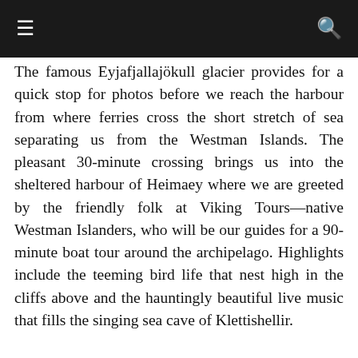≡  🔍
The famous Eyjafjallajökull glacier provides for a quick stop for photos before we reach the harbour from where ferries cross the short stretch of sea separating us from the Westman Islands. The pleasant 30-minute crossing brings us into the sheltered harbour of Heimaey where we are greeted by the friendly folk at Viking Tours—native Westman Islanders, who will be our guides for a 90-minute boat tour around the archipelago. Highlights include the teeming bird life that nest high in the cliffs above and the hauntingly beautiful live music that fills the singing sea cave of Klettishellir.